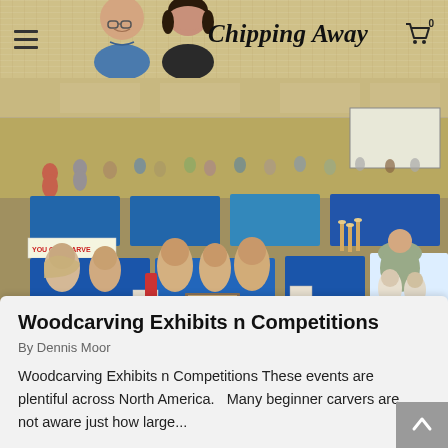Chipping Away
[Figure (photo): Indoor woodcarving exhibit and competition with blue-draped tables displaying carved wooden busts and figurines, attendees browsing in a large hall]
Woodcarving Exhibits n Competitions
By Dennis Moor
Woodcarving Exhibits n Competitions These events are plentiful across North America.   Many beginner carvers are not aware just how large...